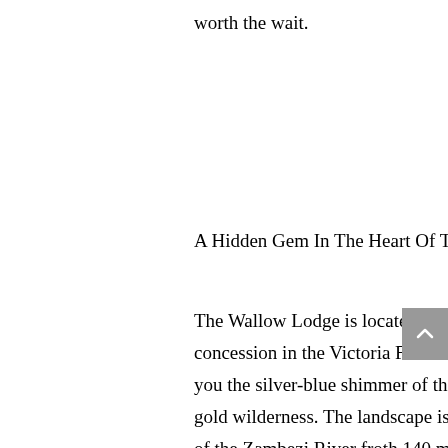worth the wait.
A Hidden Gem In The Heart Of The Wilderness
The Wallow Lodge is located in the Wild Horizons Wildlife Sanctuary, a private concession in the Victoria Falls National Park. A birds-eye view of the area would show you the silver-blue shimmer of the Masuwe River, snaking across a mosaic of green and gold wilderness. The landscape is punctuated by the black basalt gorge, where the rapids of the Zambezi River froth 140 meters below the edge. The ‘Smoke That Thunders’ hangs like a